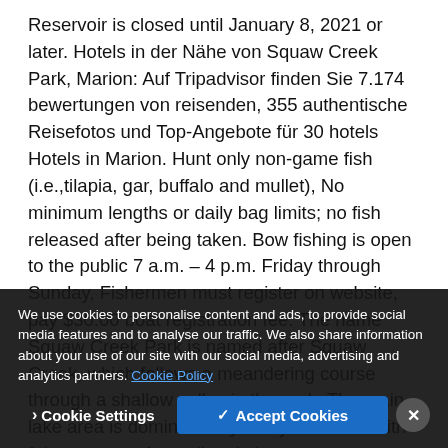Reservoir is closed until January 8, 2021 or later. Hotels in der Nähe von Squaw Creek Park, Marion: Auf Tripadvisor finden Sie 7.174 bewertungen von reisenden, 355 authentische Reisefotos und Top-Angebote für 30 hotels Hotels in Marion. Hunt only non-game fish (i.e.,tilapia, gar, buffalo and mullet), No minimum lengths or daily bag limits; no fish released after being taken. Bow fishing is open to the public 7 a.m. – 4 p.m. Friday through Sunday, Fishermen must register on website, pay $30.00 boat registration fee. The name Squaw Creek Park is named after Squaw Creek, which follows a meandering course through a shallow valley in the park. The main lake area is dominated by rocky shoreline with fair amounts of standing timber
We use cookies to personalise content and ads, to provide social media features and to analyse our traffic. We also share information about your use of our site with our social media, advertising and analytics partners. Cookie Policy